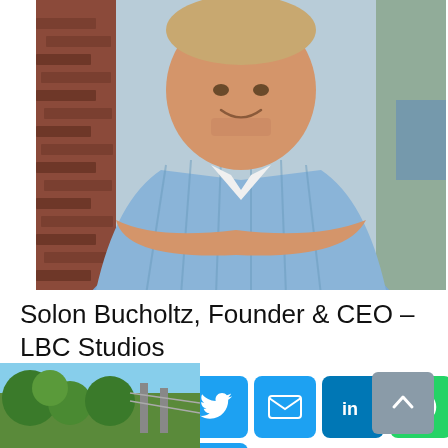[Figure (photo): Professional headshot of Solon Bucholtz, a man in a light blue striped shirt with arms crossed, leaning against a brick wall outdoors]
Solon Bucholtz, Founder & CEO – LBC Studios
[Figure (infographic): Social media sharing buttons row 1: Facebook, Twitter, Email, LinkedIn, WhatsApp; row 2: Messenger, More (+)]